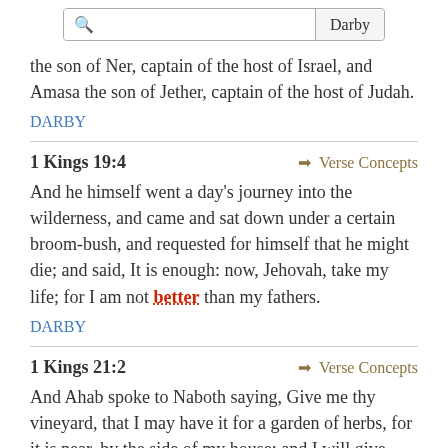Search: Darby
the son of Ner, captain of the host of Israel, and Amasa the son of Jether, captain of the host of Judah.
DARBY
1 Kings 19:4 → Verse Concepts
And he himself went a day's journey into the wilderness, and came and sat down under a certain broom-bush, and requested for himself that he might die; and said, It is enough: now, Jehovah, take my life; for I am not better than my fathers.
DARBY
1 Kings 21:2 → Verse Concepts
And Ahab spoke to Naboth saying, Give me thy vineyard, that I may have it for a garden of herbs, for it is near, by the side of my house; and I will give thee for it a better vineyard than it; if it seem good to thee, I will